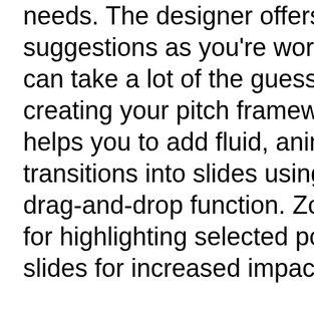needs. The designer offers suggestions as you're working, which can take a lot of the guesswork out of creating your pitch framework. Morph helps you to add fluid, animated transitions into slides using an easy drag-and-drop function. Zoom allows for highlighting selected portions of slides for increased impact.

The word most often associated with the latest version of Microsoft's